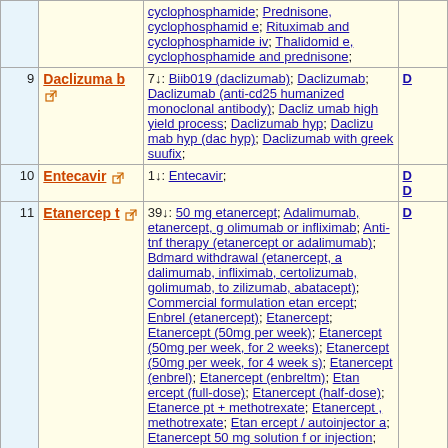| # | Drug | Trials | D |
| --- | --- | --- | --- |
|  |  | cyclophosphamide; Prednisone, cyclophosphamide; Rituximab and cyclophosphamide iv; Thalidomide, cyclophosphamide and prednisone; |  |
| 9 | Daclizumab | 7↓: Biib019 (daclizumab); Daclizumab; Daclizumab (anti-cd25 humanized monoclonal antibody); Daclizumab high yield process; Daclizumab hyp; Daclizumab hyp (dac hyp); Daclizumab with greek suufix; | D |
| 10 | Entecavir | 1↓: Entecavir; | D D |
| 11 | Etanercept | 39↓: 50 mg etanercept; Adalimumab, etanercept, golimumab or infliximab; Anti-tnf therapy (etanercept or adalimumab); Bdmard withdrawal (etanercept, adalimumab, infliximab, certolizumab, golimumab,tozilizumab, abatacept); Commercial formulation etanercept; Enbrel (etanercept); Etanercept; Etanercept (50mg per week); Etanercept (50mg per week, for 2 weeks); Etanercept (50mg per week, for 4 weeks); Etanercept (enbrel); Etanercept (enbreltm); Etanercept (full-dose); Etanercept (half-dose); Etanercept + methotrexate; Etanercept , methotrexate; Etanercept / autoinjector a; Etanercept 50 mg solution for injection; Etanercept 50mg; Etanercept biosimilar; Etanercept liquid; Etanercept or adalimumab; Etanercept pre-filled syringe sq injection; Etanercept treatment; Etanercept via autoinjector a; Etanercept | D |